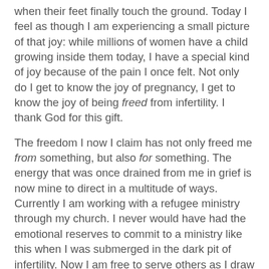when their feet finally touch the ground. Today I feel as though I am experiencing a small picture of that joy: while millions of women have a child growing inside them today, I have a special kind of joy because of the pain I once felt. Not only do I get to know the joy of pregnancy, I get to know the joy of being freed from infertility. I thank God for this gift.
The freedom I now I claim has not only freed me from something, but also for something. The energy that was once drained from me in grief is now mine to direct in a multitude of ways. Currently I am working with a refugee ministry through my church. I never would have had the emotional reserves to commit to a ministry like this when I was submerged in the dark pit of infertility. Now I am free to serve others as I draw from the well of joy I have overflowing from the gift of answered prayers.
This is truly a blessed season of my life and I am grateful!
Bump shot:
[Figure (photo): Partial photo of a person, cropped at bottom of page]